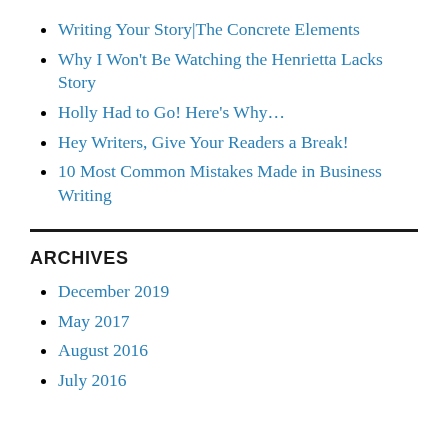Writing Your Story|The Concrete Elements
Why I Won't Be Watching the Henrietta Lacks Story
Holly Had to Go! Here's Why...
Hey Writers, Give Your Readers a Break!
10 Most Common Mistakes Made in Business Writing
ARCHIVES
December 2019
May 2017
August 2016
July 2016